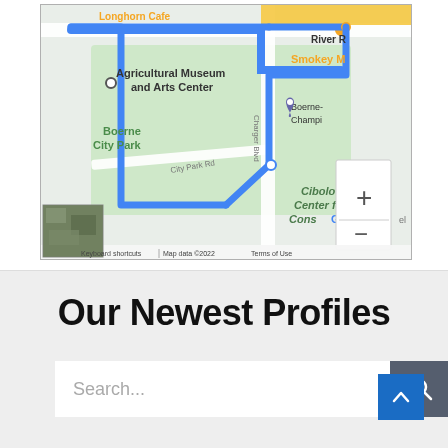[Figure (map): Google Maps screenshot showing a route (blue line) around Boerne City Park and Agricultural Museum and Arts Center area. Shows streets including City Park Rd and Charger Blvd, locations including Longhorn Cafe, River R, Smokey M, Boerne-Champi, Cibolo Center for Cons. Has zoom +/- controls. Bottom bar shows: Keyboard shortcuts | Map data ©2022 | Terms of Use. Small aerial photo thumbnail in lower left corner.]
Our Newest Profiles
Search...